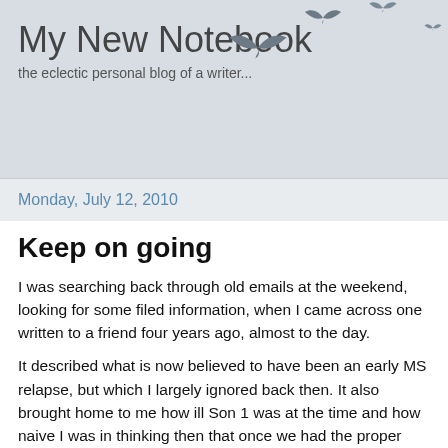My New Notebook
the eclectic personal blog of a writer...
[Figure (illustration): Silhouettes of birds in flight arranged diagonally across the upper right of the header area]
Monday, July 12, 2010
Keep on going
I was searching back through old emails at the weekend, looking for some filed information, when I came across one written to a friend four years ago, almost to the day.
It described what is now believed to have been an early MS relapse, but which I largely ignored back then. It also brought home to me how ill Son 1 was at the time and how naive I was in thinking then that once we had the proper professional input he would get better and back into education quickly. It took so much longer than I ever would have believed and affected my life in so many ways.